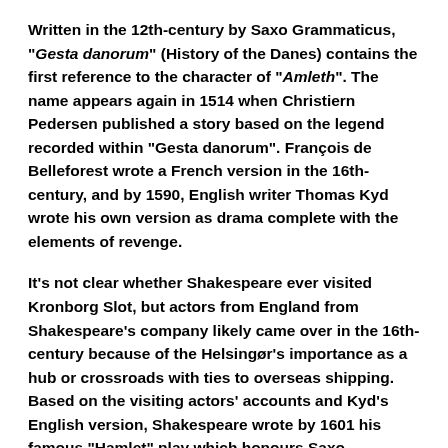Written in the 12th-century by Saxo Grammaticus, "Gesta danorum" (History of the Danes) contains the first reference to the character of "Amleth". The name appears again in 1514 when Christiern Pedersen published a story based on the legend recorded within "Gesta danorum". François de Belleforest wrote a French version in the 16th-century, and by 1590, English writer Thomas Kyd wrote his own version as drama complete with the elements of revenge.
It's not clear whether Shakespeare ever visited Kronborg Slot, but actors from England from Shakespeare's company likely came over in the 16th-century because of the Helsingør's importance as a hub or crossroads with ties to overseas shipping. Based on the visiting actors' accounts and Kyd's English version, Shakespeare wrote by 1601 his famous "Hamlet" play which honours Saxo